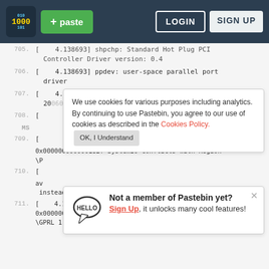Pastebin navigation bar with logo, + paste button, LOGIN and SIGN UP buttons
705. [    4.138693] shpchp: Standard Hot Plug PCI Controller Driver version: 0.4
706. [    4.138693] ppdev: user-space parallel port driver
707. [    4.145916] [drm] Initialized drm 1.1.0 20060910
708. [    ... ]
MS
709. [    ...]
0x000000000000182f SystemIO conflicts with Region
\P
710. [    ...]
av
instead of the native driver
711. [    4.155189] ACPI Warning: 0x0000000000000830-0x000000000000083f SystemIO conflicts with Region
\GPRL 1 (20131115/utaddress-251)
We use cookies for various purposes including analytics. By continuing to use Pastebin, you agree to our use of cookies as described in the Cookies Policy. OK, I Understand
Not a member of Pastebin yet? Sign Up, it unlocks many cool features!